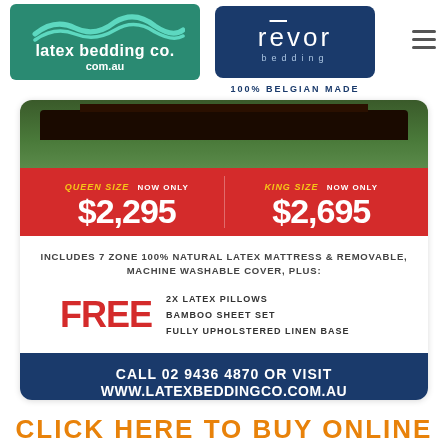[Figure (logo): Latex Bedding Co. logo with teal background and wave graphic, and Revor Bedding logo with dark blue background]
100% BELGIAN MADE
[Figure (photo): Bed frame against green background]
QUEEN SIZE NOW ONLY $2,295 | KING SIZE NOW ONLY $2,695
INCLUDES 7 ZONE 100% NATURAL LATEX MATTRESS & REMOVABLE, MACHINE WASHABLE COVER, PLUS:
FREE 2X LATEX PILLOWS
FREE BAMBOO SHEET SET
FREE FULLY UPHOLSTERED LINEN BASE
CALL 02 9436 4870 OR VISIT WWW.LATEXBEDDINGCO.COM.AU
Showroom: 376 Pacific Highway, Crows Nest, NSW
CLICK HERE TO BUY ONLINE